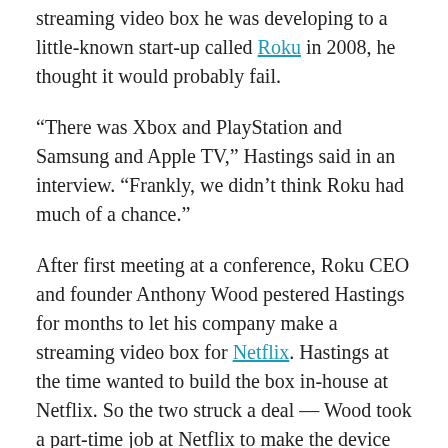streaming video box he was developing to a little-known start-up called Roku in 2008, he thought it would probably fail.
“There was Xbox and PlayStation and Samsung and Apple TV,” Hastings said in an interview. “Frankly, we didn’t think Roku had much of a chance.”
After first meeting at a conference, Roku CEO and founder Anthony Wood pestered Hastings for months to let his company make a streaming video box for Netflix. Hastings at the time wanted to build the box in-house at Netflix. So the two struck a deal — Wood took a part-time job at Netflix to make the device while remaining CEO of Roku, which had about 15 employees.
That experiment lasted nine months. Hastings wanted